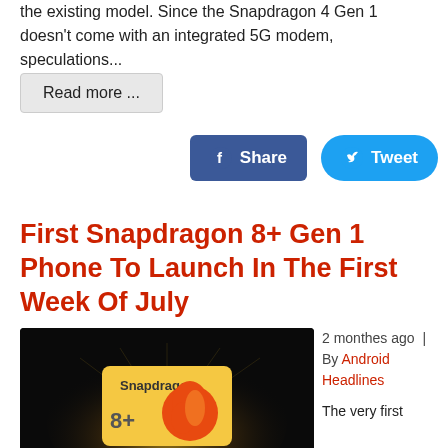the existing model. Since the Snapdragon 4 Gen 1 doesn't come with an integrated 5G modem, speculations...
Read more ...
[Figure (screenshot): Facebook Share button (blue) and Twitter Tweet button (cyan/blue)]
First Snapdragon 8+ Gen 1 Phone To Launch In The First Week Of July
[Figure (photo): Snapdragon 8+ processor chip promotional image on dark background with golden light]
2 monthes ago | By Android Headlines
The very first
Snapdragon 8+ Gen 1 phone is expected to launch in the first week of July. This information comes from Abhishek Yadav, a tipster. In